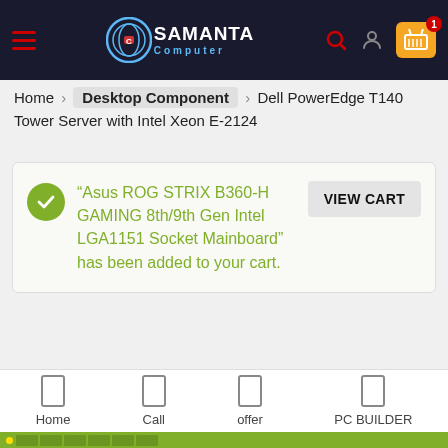[Figure (screenshot): Samanta Computer website header with logo, hamburger menu, search icon, user icon, and shopping cart with badge showing 1 item]
Home > Desktop Component > Dell PowerEdge T140 Tower Server with Intel Xeon E-2124
"Asus ROG STRIX B360-H GAMING 8th/9th Gen Intel LGA1151 Socket Mainboard" has been added to your cart.
VIEW CART
[Figure (photo): Dell PowerEdge T145 tower server front panel showing power button, USB ports, and branding]
Home
Call
offer
PC BUILDER